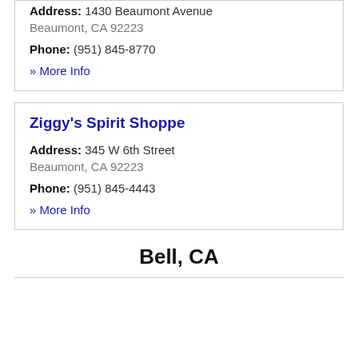Address: 1430 Beaumont Avenue Beaumont, CA 92223
Phone: (951) 845-8770
» More Info
Ziggy's Spirit Shoppe
Address: 345 W 6th Street Beaumont, CA 92223
Phone: (951) 845-4443
» More Info
Bell, CA